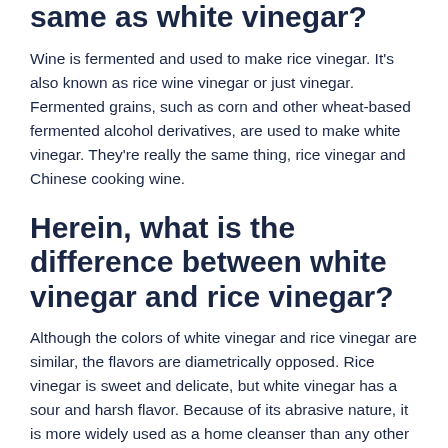same as white vinegar?
Wine is fermented and used to make rice vinegar. It's also known as rice wine vinegar or just vinegar. Fermented grains, such as corn and other wheat-based fermented alcohol derivatives, are used to make white vinegar. They're really the same thing, rice vinegar and Chinese cooking wine.
Herein, what is the difference between white vinegar and rice vinegar?
Although the colors of white vinegar and rice vinegar are similar, the flavors are diametrically opposed. Rice vinegar is sweet and delicate, but white vinegar has a sour and harsh flavor. Because of its abrasive nature, it is more widely used as a home cleanser than any other vinegar.